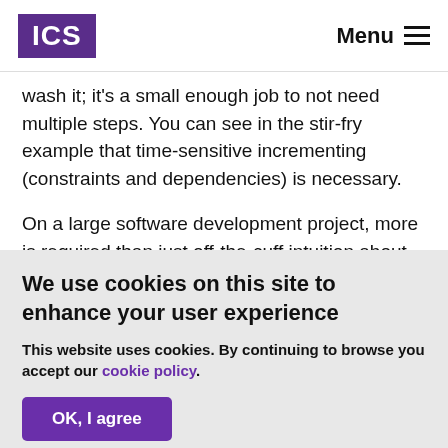ICS | Menu
wash it; it's a small enough job to not need multiple steps. You can see in the stir-fry example that time-sensitive incrementing (constraints and dependencies) is necessary.

On a large software development project, more is required than just off-the-cuff intuition about work breakdown. Methodologies such as Agile and Lean or even Waterfall
We use cookies on this site to enhance your user experience
This website uses cookies. By continuing to browse you accept our cookie policy.
OK, I agree